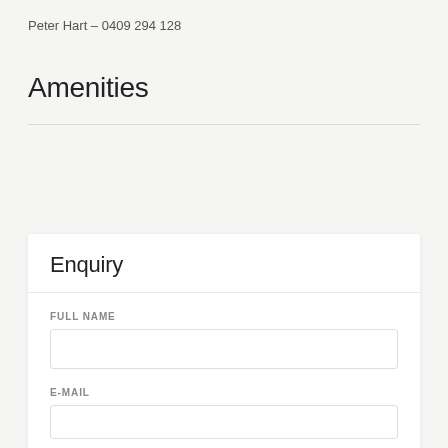Peter Hart – 0409 294 128
Amenities
Enquiry
FULL NAME
E-MAIL